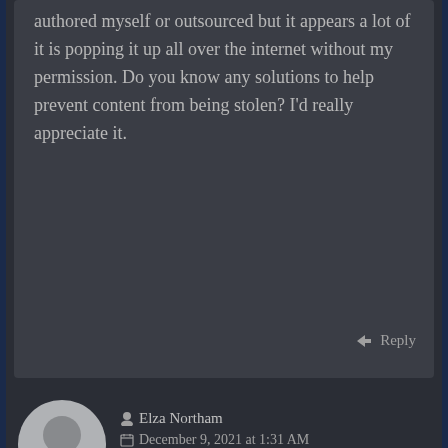authored myself or outsourced but it appears a lot of it is popping it up all over the internet without my permission. Do you know any solutions to help prevent content from being stolen? I'd really appreciate it.
Reply
Elza Northam
December 9, 2021 at 1:31 AM
Permalink
I appreciate the help.
Reply
Junko Bedee
December 11, 2021 at 1:56 AM